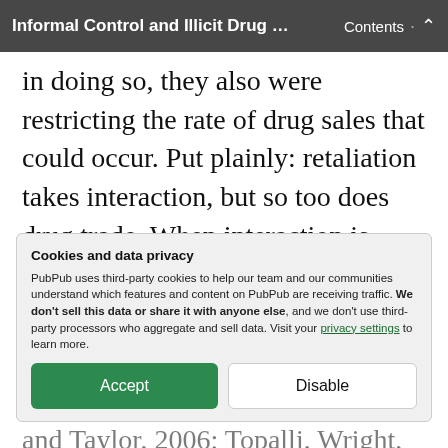Informal Control and Illicit Drug … Contents ↑
in doing so, they also were restricting the rate of drug sales that could occur. Put plainly: retaliation takes interaction, but so too does drug trade. When interaction is avoided as a way of managing retaliation, this inherently requires drug trade to be avoided as well – at least until the dealer
Cookies and data privacy
PubPub uses third-party cookies to help our team and our communities understand which features and content on PubPub are receiving traffic. We don't sell this data or share it with anyone else, and we don't use third-party processors who aggregate and sell data. Visit your privacy settings to learn more.
and Taylor, 2006; Topalli, Wright, and